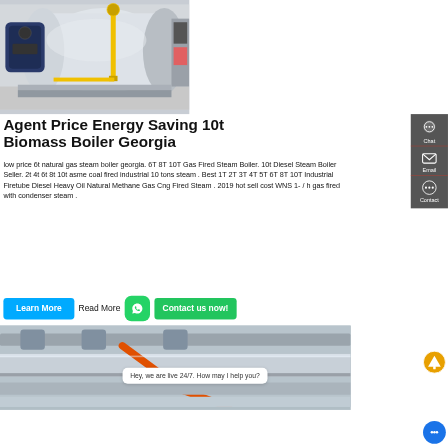[Figure (photo): Industrial biomass/gas steam boiler equipment in a facility, showing large cylindrical boiler with yellow piping and control panels]
Agent Price Energy Saving 10t Biomass Boiler Georgia
low price 6t natural gas steam boiler georgia. 6T 8T 10T Gas Fired Steam Boiler. 10t Diesel Steam Boiler Seller. 2t 4t 6t 8t 10t asme coal fired industrial 10 tons steam . Best 1T 2T 3T 4T 5T 6T 8T 10T Industrial Firetube Diesel Heavy Oil Natural Methane Gas Cng Fired Steam . 2019 hot sell cost WNS 1- / h gas fired with condenser steam .
Read More
[Figure (photo): Industrial piping system with insulated pipes and orange/red pipe visible on ceiling]
Hey, we are live 24/7. How may I help you?